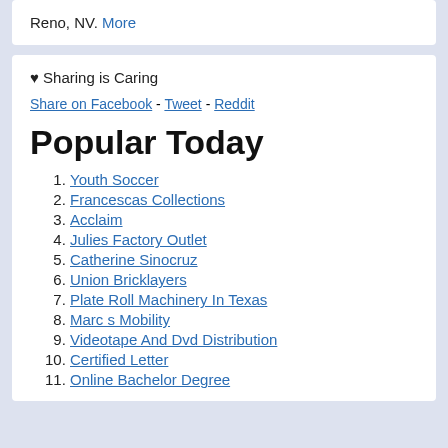Reno, NV. More
♥ Sharing is Caring
Share on Facebook - Tweet - Reddit
Popular Today
1. Youth Soccer
2. Francescas Collections
3. Acclaim
4. Julies Factory Outlet
5. Catherine Sinocruz
6. Union Bricklayers
7. Plate Roll Machinery In Texas
8. Marc s Mobility
9. Videotape And Dvd Distribution
10. Certified Letter
11. Online Bachelor Degree